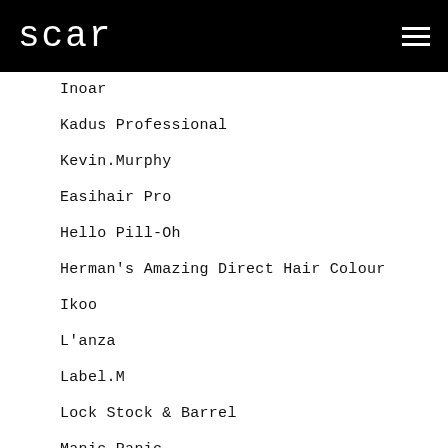scar
Inoar
Kadus Professional
Kevin.Murphy
Easihair Pro
Hello Pill-Oh
Herman's Amazing Direct Hair Colour
Ikoo
L'anza
Label.M
Lock Stock & Barrel
Manic Panic
Moyoko
Newtrino